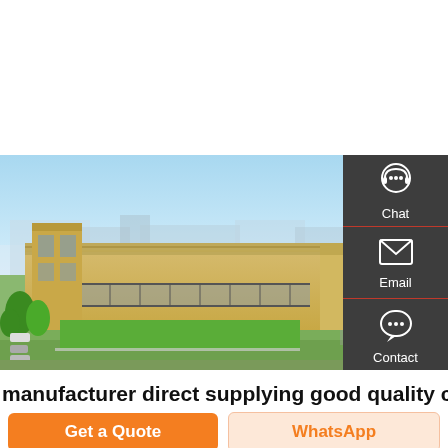[Figure (photo): Aerial view of a large industrial factory/manufacturing facility with long tan/beige warehouse buildings, green lawn areas, parking lots with cars, and a blue sky with light clouds in the background.]
manufacturer direct supplying good quality coal
Get a Quote
WhatsApp